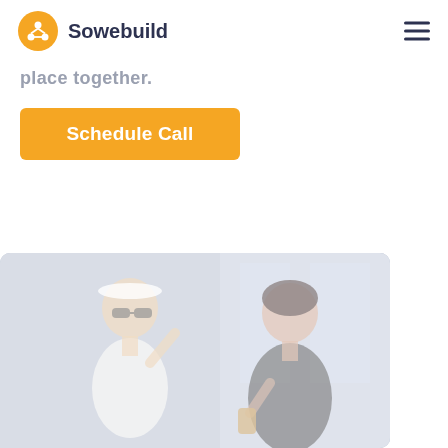Sowebuild
place together.
Schedule Call
[Figure (photo): Two women laughing together in a casual indoor setting, one wearing sunglasses and a white top, the other in a dark outfit holding a drink. Background shows a bar or cafe interior. Image is washed out with white overlay.]